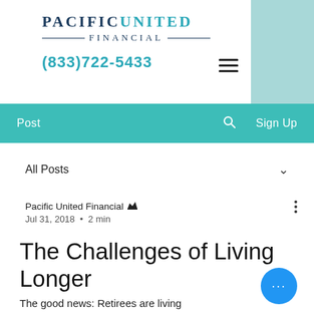[Figure (logo): Pacific United Financial logo with teal accent block]
(833)722-5433
[Figure (screenshot): Navigation bar with Post, search icon, and Sign Up links on teal background]
All Posts
Pacific United Financial  Jul 31, 2018 · 2 min
The Challenges of Living Longer
The good news: Retirees are living